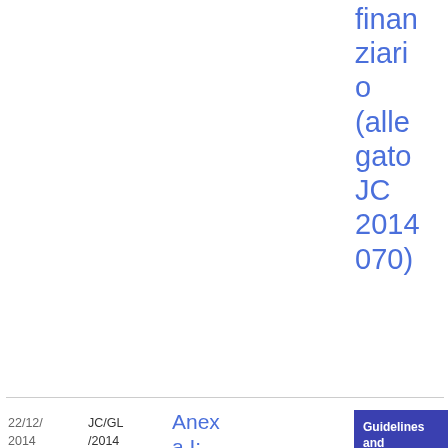finanziario (allegato JC 2014 070)
| Data | Riferimento | Titolo | Categoria | Tipo | File |
| --- | --- | --- | --- | --- | --- |
| 22/12/2014 | JC/GL/2014/01/RO | Anexa I: Formular pentru procesul de mapare afer... | Guidelines and Technical standards / Joint Committee | Guidelines & Recommendations | XLSX 66.2 KB |